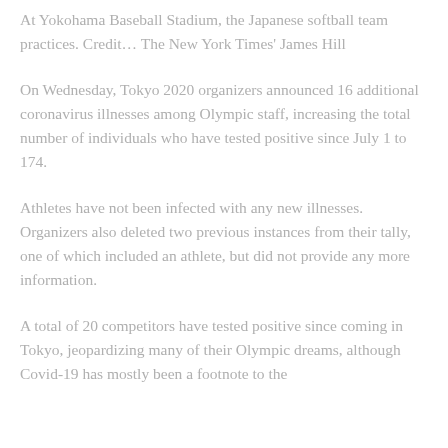At Yokohama Baseball Stadium, the Japanese softball team practices. Credit... The New York Times' James Hill
On Wednesday, Tokyo 2020 organizers announced 16 additional coronavirus illnesses among Olympic staff, increasing the total number of individuals who have tested positive since July 1 to 174.
Athletes have not been infected with any new illnesses. Organizers also deleted two previous instances from their tally, one of which included an athlete, but did not provide any more information.
A total of 20 competitors have tested positive since coming in Tokyo, jeopardizing many of their Olympic dreams, although Covid-19 has mostly been a footnote to the